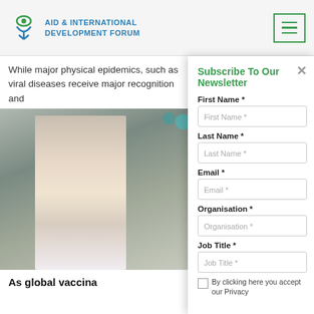Aid & International Development Forum
While major physical epidemics, such as viral diseases receive major recognition and
[Figure (photo): Photo of a woman in a white t-shirt at what appears to be a health or vaccination event, with teal balloons visible in the background]
As global vaccina
Subscribe To Our Newsletter
First Name *
Last Name *
Email *
Organisation *
Job Title *
By clicking here you accept our Privacy